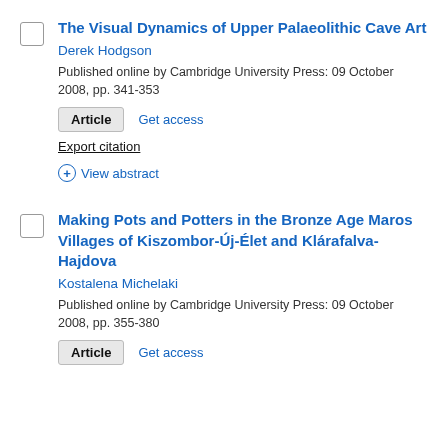The Visual Dynamics of Upper Palaeolithic Cave Art
Derek Hodgson
Published online by Cambridge University Press: 09 October 2008, pp. 341-353
Article   Get access
Export citation
View abstract
Making Pots and Potters in the Bronze Age Maros Villages of Kiszombor-Új-Élet and Klárafalva-Hajdova
Kostalena Michelaki
Published online by Cambridge University Press: 09 October 2008, pp. 355-380
Article   Get access